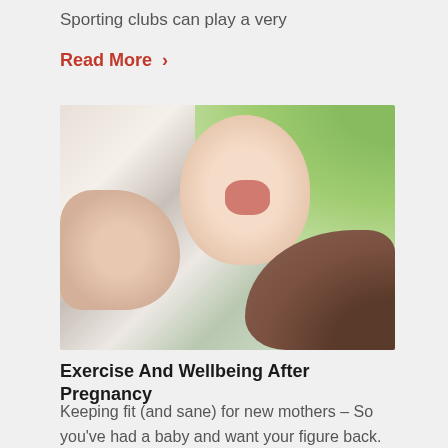Sporting clubs can play a very
Read More >
[Figure (photo): A happy baby being held up by a mother who is nuzzling the baby's chin, with a soft green blurred background. The baby is laughing with mouth open. The mother's hand with a ring is visible holding the baby.]
Exercise And Wellbeing After Pregnancy
Keeping fit (and sane) for new mothers – So you've had a baby and want your figure back.